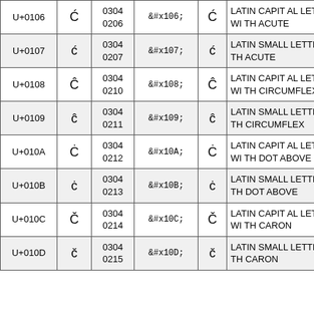| Code | Char | Octal | HTML Entity | Render | Description |
| --- | --- | --- | --- | --- | --- |
| U+0106 | Ć | 0304
0206 | &#x106; | Ć | LATIN CAPITAL LETTER C WITH ACUTE |
| U+0107 | ć | 0304
0207 | &#x107; | ć | LATIN SMALL LETTER C WITH ACUTE |
| U+0108 | Ĉ | 0304
0210 | &#x108; | Ĉ | LATIN CAPITAL LETTER C WITH CIRCUMFLEX |
| U+0109 | ĉ | 0304
0211 | &#x109; | ĉ | LATIN SMALL LETTER C WITH CIRCUMFLEX |
| U+010A | Ċ | 0304
0212 | &#x10A; | Ċ | LATIN CAPITAL LETTER C WITH DOT ABOVE |
| U+010B | ċ | 0304
0213 | &#x10B; | ċ | LATIN SMALL LETTER C WITH DOT ABOVE |
| U+010C | Č | 0304
0214 | &#x10C; | Č | LATIN CAPITAL LETTER C WITH CARON |
| U+010D | č | 0304
0215 | &#x10D; | č | LATIN SMALL LETTER C WITH CARON |